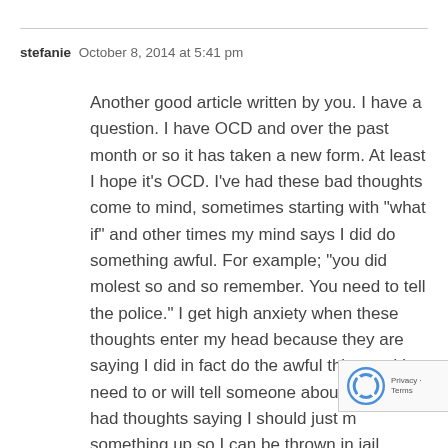stefanie   October 8, 2014 at 5:41 pm
Another good article written by you. I have a question. I have OCD and over the past month or so it has taken a new form. At least I hope it's OCD. I've had these bad thoughts come to mind, sometimes starting with “what if” and other times my mind says I did do something awful. For example; “you did molest so and so remember. You need to tell the police.” I get high anxiety when these thoughts enter my head because they are saying I did in fact do the awful thing and I need to or will tell someone about it. I h also had thoughts saying I should just m something up so I can be thrown in jail
[Figure (other): reCAPTCHA badge with recycling-arrow logo and 'Privacy - Terms' text]